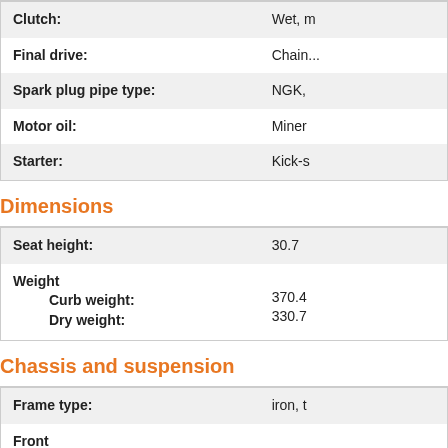|  |  |
| --- | --- |
| Clutch: | Wet, m... |
| Final drive: | Chain... |
| Spark plug pipe type: | NGK,... |
| Motor oil: | Miner... |
| Starter: | Kick-s... |
Dimensions
|  |  |
| --- | --- |
| Seat height: | 30.7... |
| Weight
    Curb weight:
    Dry weight: | 370.4...
330.7... |
Chassis and suspension
|  |  |
| --- | --- |
| Frame type: | iron, t... |
| Front
    Suspension:
    Suspension travel:
    Brake:
    Tire:
    Ti... | Cartri...
6.3 in...
Single...
83 / 1...
0.10... |